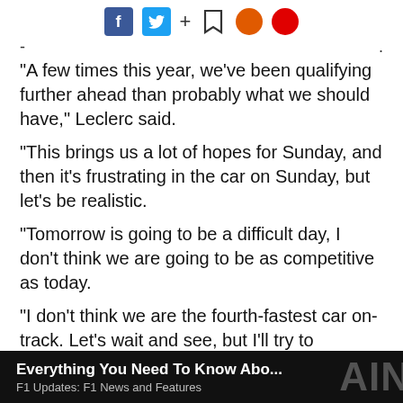Social sharing bar with Facebook, Twitter, plus, bookmark, and two circle icons
"A few times this year, we've been qualifying further ahead than probably what we should have," Leclerc said.
"This brings us a lot of hopes for Sunday, and then it's frustrating in the car on Sunday, but let's be realistic.
"Tomorrow is going to be a difficult day, I don't think we are going to be as competitive as today.
"I don't think we are the fourth-fastest car on-track. Let's wait and see, but I'll try to maximise what I have."
[Figure (screenshot): Video thumbnail banner with dark background showing text 'Everything You Need To Know Abo...' and subtitle 'F1 Updates: F1 News and Features' with large letters on right side]